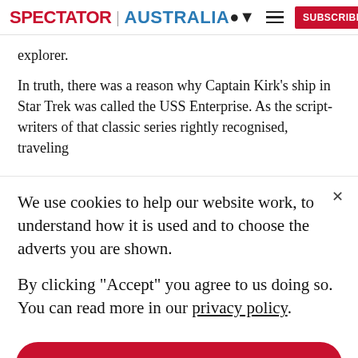SPECTATOR | AUSTRALIA
explorer.
In truth, there was a reason why Captain Kirk's ship in Star Trek was called the USS Enterprise. As the scriptwriters of that classic series rightly recognised, traveling
We use cookies to help our website work, to understand how it is used and to choose the adverts you are shown.
By clicking "Accept" you agree to us doing so. You can read more in our privacy policy.
Accept